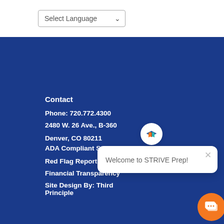Select Language
Contact
Phone: 720.772.4300
2480 W. 26 Ave., B-360
Denver, CO 80211
ADA Compliant Statement
Red Flag Reporting
Financial Transparency
Site Design By: Third Principle
[Figure (screenshot): Chat popup with book logo and text 'Welcome to STRIVE Prep!' with a close (X) button, and an orange chat button in the bottom right corner.]